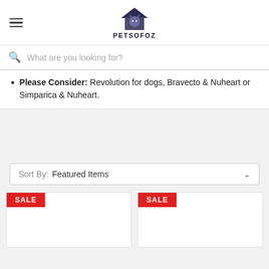[Figure (logo): Petsofoz logo: house icon with cat silhouette and text PETSOFOZ below]
What are you looking for?
Please Consider: Revolution for dogs, Bravecto & Nuheart or Simparica & Nuheart.
Sort By: Featured Items
[Figure (screenshot): Two product cards both labeled SALE, content not visible]